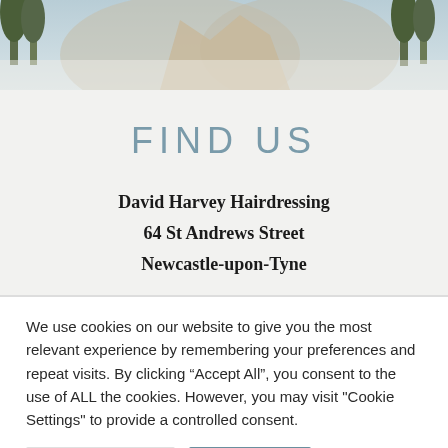[Figure (photo): Landscape banner image with trees and misty mountains in muted greens and beige tones]
FIND US
David Harvey Hairdressing
64 St Andrews Street
Newcastle-upon-Tyne
We use cookies on our website to give you the most relevant experience by remembering your preferences and repeat visits. By clicking “Accept All”, you consent to the use of ALL the cookies. However, you may visit "Cookie Settings" to provide a controlled consent.
Cookie Settings | Accept All